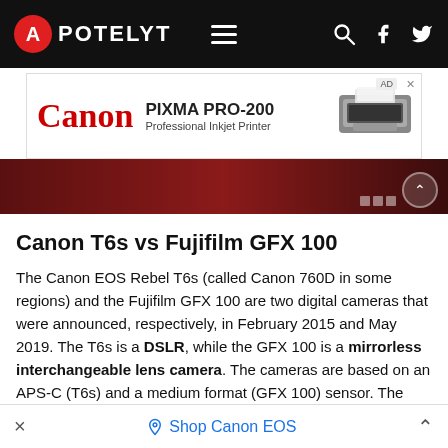APOTELYT
[Figure (photo): Canon PIXMA PRO-200 Professional Inkjet Printer advertisement banner]
[Figure (photo): Dark red/maroon background camera image strip]
Canon T6s vs Fujifilm GFX 100
The Canon EOS Rebel T6s (called Canon 760D in some regions) and the Fujifilm GFX 100 are two digital cameras that were announced, respectively, in February 2015 and May 2019. The T6s is a DSLR, while the GFX 100 is a mirrorless interchangeable lens camera. The cameras are based on an APS-C (T6s) and a medium format (GFX 100) sensor. The Canon has a resolution of 24 megapixels, whereas the Fujifilm provides 101.8 MP.
Below is an overview of the main specs of the two cameras as a starting point for the comparison.
Shop Canon EOS